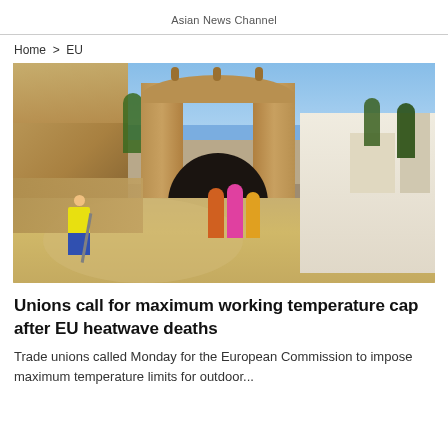Asian News Channel
Home > EU
[Figure (photo): A worker in a high-visibility yellow jacket and blue trousers sweeps a stone-paved path near a historic arched gate, while tourists walk through the arch in bright sunshine. White-washed buildings are visible in the background under a clear blue sky.]
Unions call for maximum working temperature cap after EU heatwave deaths
Trade unions called Monday for the European Commission to impose maximum temperature limits for outdoor...